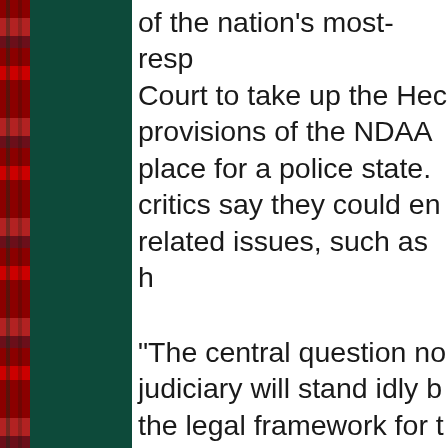of the nation's most-respected Court to take up the Hedges provisions of the NDAA — place for a police state. critics say they could en related issues, such as h
"The central question no judiciary will stand idly b the legal framework for t subjugation of the Ameri military arrest and deten confront one's accusers
That's from an amicus b Supreme Court by attor Ramona, Calif., Friedma Success, N.Y., and Willi are Michael Connelly, S W. Titus, John S. Miles,